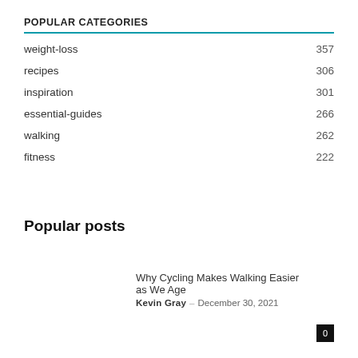POPULAR CATEGORIES
| Category | Count |
| --- | --- |
| weight-loss | 357 |
| recipes | 306 |
| inspiration | 301 |
| essential-guides | 266 |
| walking | 262 |
| fitness | 222 |
Popular posts
Why Cycling Makes Walking Easier as We Age
Kevin Gray – December 30, 2021